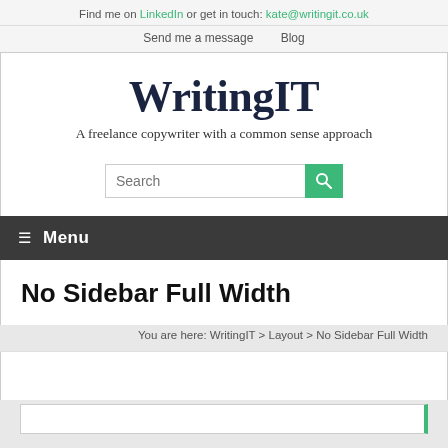Find me on LinkedIn or get in touch: kate@writingit.co.uk
Send me a message   Blog
WritingIT
A freelance copywriter with a common sense approach
[Figure (screenshot): Search input box with green search button]
≡  Menu
No Sidebar Full Width
You are here: WritingIT > Layout > No Sidebar Full Width